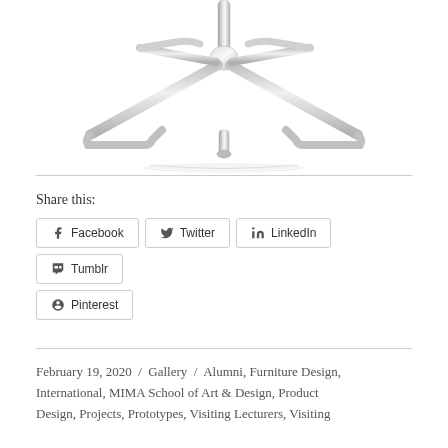[Figure (photo): Close-up photograph of a chrome/polished metal chair base with four legs in an X-pattern, showing the reflective metal tubes meeting at a central point, photographed from below against a white background.]
Share this:
Facebook  Twitter  LinkedIn  Tumblr  Pinterest
February 19, 2020  /  Gallery  /  Alumni, Furniture Design, International, MIMA School of Art & Design, Product Design, Projects, Prototypes, Visiting Lecturers, Visiting